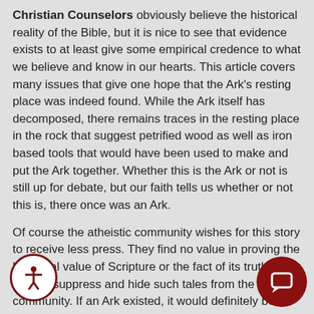Christian Counselors obviously believe the historical reality of the Bible, but it is nice to see that evidence exists to at least give some empirical credence to what we believe and know in our hearts.  This article covers many issues that give one hope that the Ark's resting place was indeed found.  While the Ark itself has decomposed, there remains traces in the resting place in the rock that suggest petrified wood as well as iron based tools that would have been used to make and put the Ark together.  Whether this is the Ark or not is still up for debate, but our faith tells us whether or not this is, there once was an Ark.
Of course the atheistic community wishes for this story to receive less press.  They find no value in proving the historical value of Scripture or the fact of its truth.  They wish to suppress and hide such tales from the larger community.  If an Ark existed, it would definitely be a philosophical issue for their debates against Scripture.
If you are interested in learning more about Christian Counseling or would like to learn how to become a Christian Counselor then please review the program.
For those who wish to learn how to become a